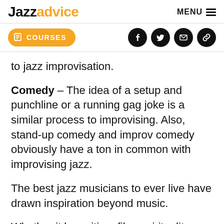Jazzadvice | MENU
COURSES (button) | Social icons: Facebook, Twitter, Email, Link
to jazz improvisation.
Comedy – The idea of a setup and punchline or a running gag joke is a similar process to improvising. Also, stand-up comedy and improv comedy obviously have a ton in common with improvising jazz.
The best jazz musicians to ever live have drawn inspiration beyond music.
Whether it be writing, film, spirituality, or any